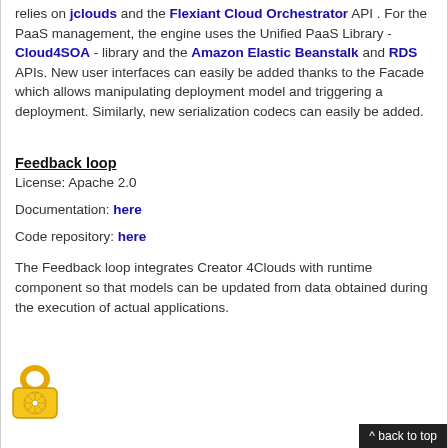relies on jclouds and the Flexiant Cloud Orchestrator API . For the PaaS management, the engine uses the Unified PaaS Library - Cloud4SOA - library and the Amazon Elastic Beanstalk and RDS APIs. New user interfaces can easily be added thanks to the Facade which allows manipulating deployment model and triggering a deployment. Similarly, new serialization codecs can easily be added.
Feedback loop
License: Apache 2.0
Documentation: here
Code repository: here
The Feedback loop integrates Creator 4Clouds with runtime component so that models can be updated from data obtained during the execution of actual applications.